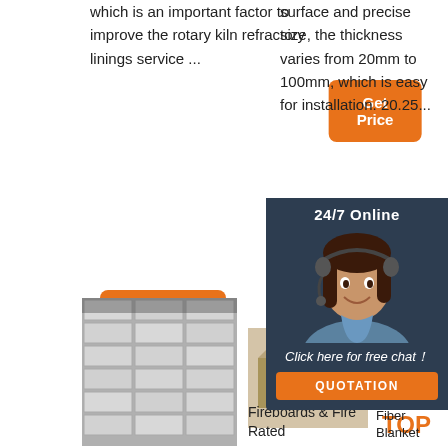which is an important factor to improve the rotary kiln refractory linings service ...
[Figure (other): Orange 'Get Price' button (top right area)]
[Figure (other): Orange 'Get Price' button (left column, second)]
surface and precise size, the thickness varies from 20mm to 100mm, which is easy for installation. 20.25...
[Figure (other): Orange 'Get Price' (partially visible, right column)]
[Figure (other): 24/7 Online chat widget with agent photo, 'Click here for free chat!' text, and QUOTATION button]
[Figure (photo): Stack of white/light gray refractory bricks]
[Figure (photo): Single beige/gray firebrick block]
[Figure (photo): Dark gray ceramic fiber blanket pieces/chunks]
Fireboards & Fire Rated
China Ceramic Fiber Blanket
[Figure (other): TOP badge with orange dots and text]